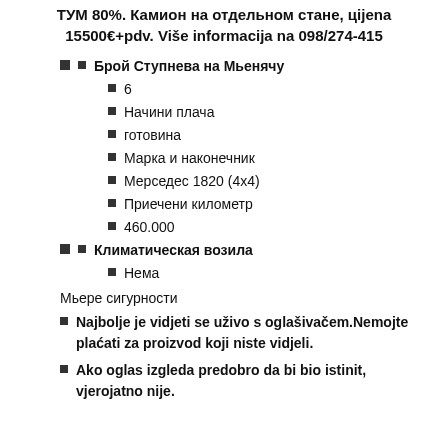ТУМ 80%. Камион на отдельном стане, цijena 15500€+pdv. Više informacija na 098/274-415
Брой Ступнева на Мьенячу
6
Начини плача
готовина
Марка и наконечник
Мерседес 1820 (4x4)
Приечени километр
460.000
Климатическая возила
Нема
Мьере сигурности
Najbolje je vidjeti se uživo s oglašivačem.Nemojte plaćati za proizvod koji niste vidjeli.
Ako oglas izgleda predobro da bi bio istinit, vjerojatno nije.